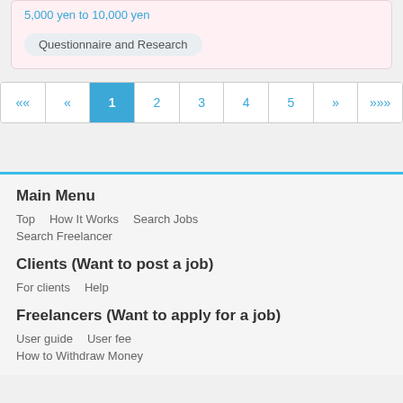5,000 yen to 10,000 yen
Questionnaire and Research
«« « 1 2 3 4 5 » »»
Main Menu
Top   How It Works   Search Jobs
Search Freelancer
Clients (Want to post a job)
For clients   Help
Freelancers (Want to apply for a job)
User guide   User fee
How to Withdraw Money